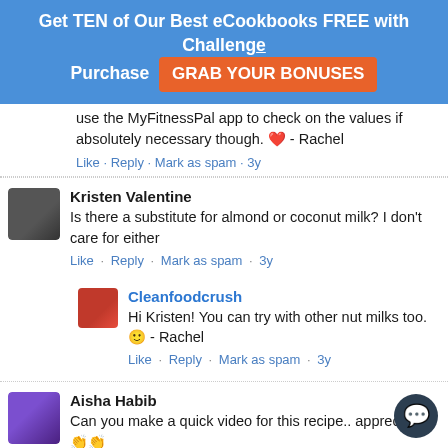Get TEN of Our Best eCookbooks FREE with Challenge Purchase  GRAB YOUR BONUSES
use the MyFitnessPal app to check on the values if absolutely necessary though. ❤️ - Rachel
Like · Reply · Mark as spam · 3y
Kristen Valentine
Is there a substitute for almond or coconut milk? I don't care for either
Like · Reply · Mark as spam · 3y
Cleanfoodcrush
Hi Kristen! You can try with other nut milks too. 🙂 - Rachel
Like · Reply · Mark as spam · 3y
Aisha Habib
Can you make a quick video for this recipe.. appreciate 👏👏
Like · Reply · Mark as spam · 3y